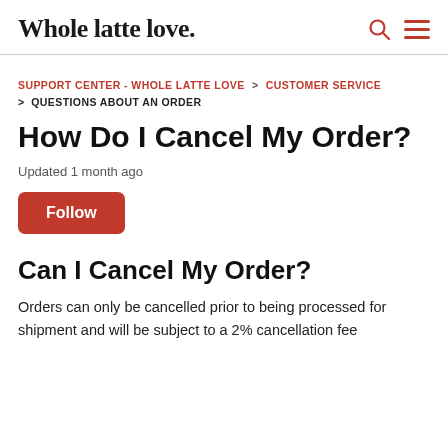Whole latte love.
SUPPORT CENTER - WHOLE LATTE LOVE > CUSTOMER SERVICE > QUESTIONS ABOUT AN ORDER
How Do I Cancel My Order?
Updated 1 month ago
Follow
Can I Cancel My Order?
Orders can only be cancelled prior to being processed for shipment and will be subject to a 2% cancellation fee